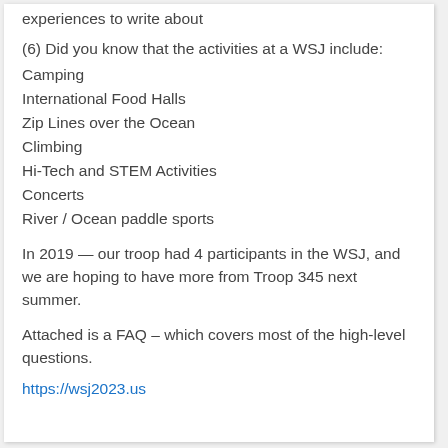experiences to write about
(6) Did you know that the activities at a WSJ include:
Camping
International Food Halls
Zip Lines over the Ocean
Climbing
Hi-Tech and STEM Activities
Concerts
River / Ocean paddle sports
In 2019 — our troop had 4 participants in the WSJ, and we are hoping to have more from Troop 345 next summer.
Attached is a FAQ – which covers most of the high-level questions.
https://wsj2023.us